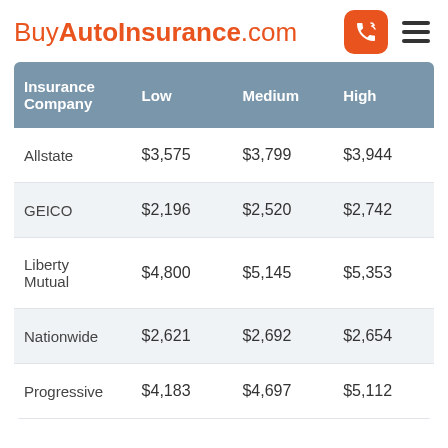BuyAutoInsurance.com
| Insurance Company | Low | Medium | High |
| --- | --- | --- | --- |
| Allstate | $3,575 | $3,799 | $3,944 |
| GEICO | $2,196 | $2,520 | $2,742 |
| Liberty Mutual | $4,800 | $5,145 | $5,353 |
| Nationwide | $2,621 | $2,692 | $2,654 |
| Progressive | $4,183 | $4,697 | $5,112 |